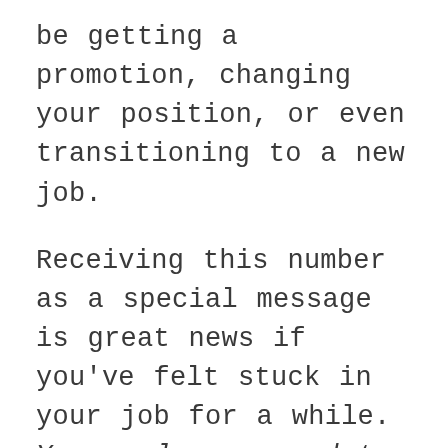be getting a promotion, changing your position, or even transitioning to a new job.
Receiving this number as a special message is great news if you've felt stuck in your job for a while. You no longer need to have a tough time trapped in the mundane. Something new is coming!
Your angels want you to make